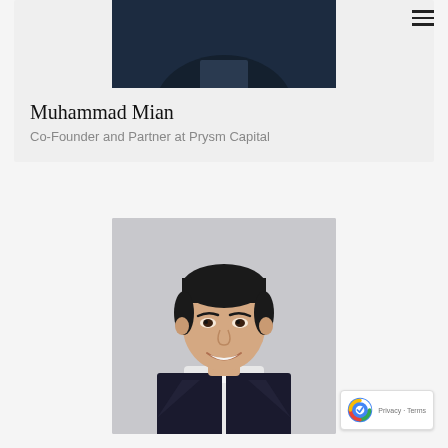[Figure (photo): Top portion of a person's photo showing dark suit against dark background, cropped at top of image]
Muhammad Mian
Co-Founder and Partner at Prysm Capital
[Figure (photo): Professional headshot of Muhammad Mian, a man in a dark blazer and white shirt, smiling, against a light grey background]